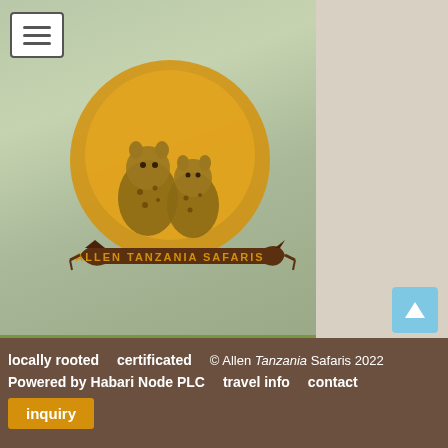[Figure (logo): Allen Tanzania Safaris logo with two cheetah cubs sitting on an orange/gold circular sun background, with the text 'ALLEN TANZANIA SAFARIS' on a brown banner below]
[Figure (photo): Giraffe in natural African bush landscape with green vegetation, with a green overlay bar at bottom showing 'rusha National Park' (partial text, likely 'Arusha National Park')]
[Figure (photo): Partial thumbnail of African acacia tree branches with green foliage]
locally rooted   certificated   © Allen Tanzania Safaris 2022
Powered by   Habari Node PLC   travel info   contact
inquiry